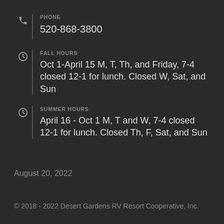PHONE
520-868-3800
FALL HOURS
Oct 1-April 15 M, T, Th, and Friday, 7-4 closed 12-1 for lunch. Closed W, Sat, and Sun
SUMMER HOURS
April 16 - Oct 1 M, T and W, 7-4 closed 12-1 for lunch. Closed Th, F, Sat, and Sun
August 20, 2022
© 2018 - 2022 Desert Gardens RV Resort Cooperative, Inc.